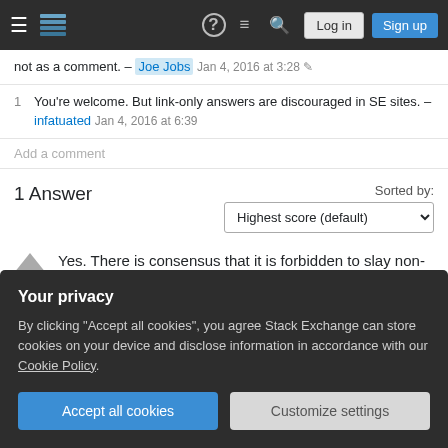Stack Exchange navigation bar with Log in and Sign up buttons
not as a comment. – Joe Jobs Jan 4, 2016 at 3:28
1 You're welcome. But link-only answers are discouraged in SE sites. – infatuated Jan 4, 2016 at 6:39
Add a comment
1 Answer
Sorted by: Highest score (default)
Yes. There is consensus that it is forbidden to slay non-combatant women and children during war.
Your privacy
By clicking "Accept all cookies", you agree Stack Exchange can store cookies on your device and disclose information in accordance with our Cookie Policy.
Accept all cookies
Customize settings
them is transgression: